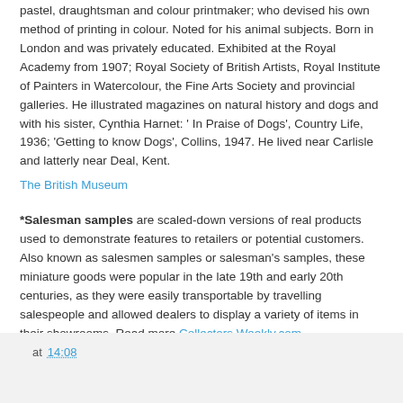pastel, draughtsman and colour printmaker; who devised his own method of printing in colour. Noted for his animal subjects. Born in London and was privately educated. Exhibited at the Royal Academy from 1907; Royal Society of British Artists, Royal Institute of Painters in Watercolour, the Fine Arts Society and provincial galleries. He illustrated magazines on natural history and dogs and with his sister, Cynthia Harnet: ' In Praise of Dogs', Country Life, 1936; 'Getting to know Dogs', Collins, 1947. He lived near Carlisle and latterly near Deal, Kent.
The British Museum
*Salesman samples are scaled-down versions of real products used to demonstrate features to retailers or potential customers. Also known as salesmen samples or salesman's samples, these miniature goods were popular in the late 19th and early 20th centuries, as they were easily transportable by travelling salespeople and allowed dealers to display a variety of items in their showrooms. Read more Collectors Weekly.com
If you are thinking of adding a small dog to your family, you might be interested in: 15 Best Small Dogs for Families with Kids
at 14:08